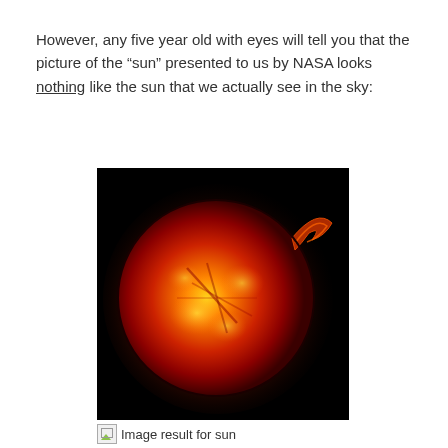However, any five year old with eyes will tell you that the picture of the “sun” presented to us by NASA looks nothing like the sun that we actually see in the sky:
[Figure (photo): NASA close-up photograph of the sun showing a bright orange-red glowing sphere against a black background, with solar flares and prominences visible on the surface and upper right edge.]
Image result for sun